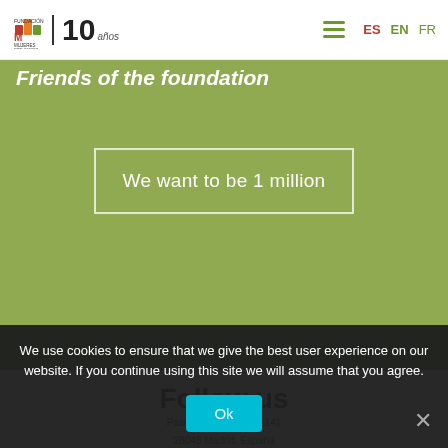Mujeres por Africa | 10 años — ES EN FR
Friends of the foundation
We want to be 1 million
Follow us
We use cookies to ensure that we give the best user experience on our website. If you continue using this site we will assume that you agree.